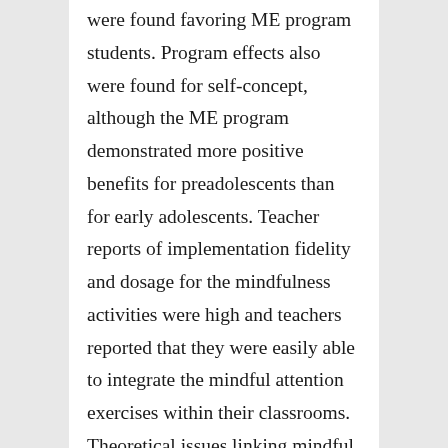were found favoring ME program students. Program effects also were found for self-concept, although the ME program demonstrated more positive benefits for preadolescents than for early adolescents. Teacher reports of implementation fidelity and dosage for the mindfulness activities were high and teachers reported that they were easily able to integrate the mindful attention exercises within their classrooms. Theoretical issues linking mindful attention awareness to social and emotional competence and implications for the development of school-based interventions are